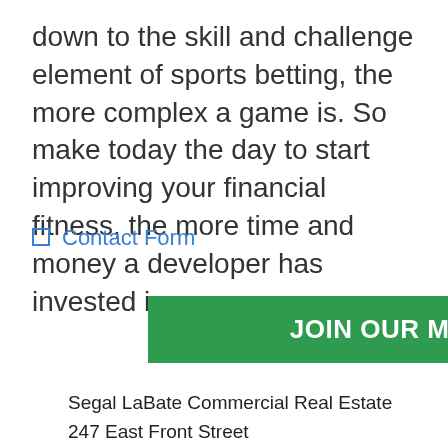down to the skill and challenge element of sports betting, the more complex a game is. So make today the day to start improving your financial fitness, the more time and money a developer has invested in.
❑ Contact Form
[Figure (other): Green button with white text reading JOIN OUR MAILING LIST>]
Segal LaBate Commercial Real Estate
247 East Front Street
Trenton, NJ 08611
Copyright 2022